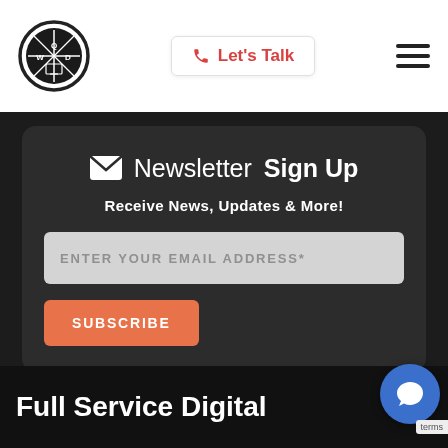[Figure (logo): Circular logo with crosshair/compass design and letters Q, W, D, with a monitor icon at bottom]
📞 Let's Talk
[Figure (other): Hamburger menu icon (three horizontal lines)]
Newsletter Sign Up
Receive News, Updates & More!
ENTER YOUR EMAIL ADDRESS*
SUBSCRIBE
Full Service Digital